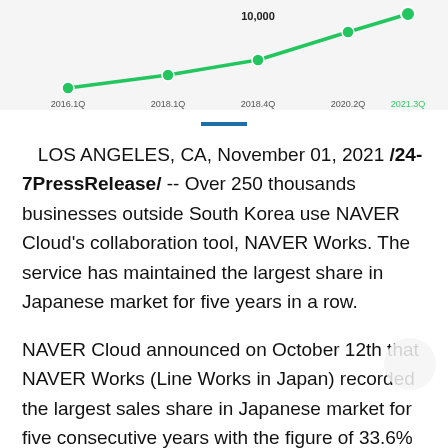[Figure (line-chart): NAVER Works growth chart]
LOS ANGELES, CA, November 01, 2021 /24-7PressRelease/ -- Over 250 thousands businesses outside South Korea use NAVER Cloud's collaboration tool, NAVER Works. The service has maintained the largest share in Japanese market for five years in a row.
NAVER Cloud announced on October 12th that NAVER Works (Line Works in Japan) recorded the largest sales share in Japanese market for five consecutive years with the figure of 33.6% citing Fuji Chimera Research Institute a. The sales share figure increased by 3% compared to last year.